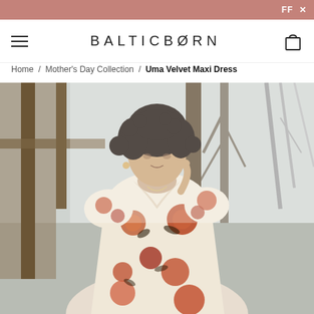FFX
BALTICBORN
Home / Mother's Day Collection / Uma Velvet Maxi Dress
[Figure (photo): A woman wearing a floral wrap maxi dress with puff sleeves, photographed outdoors near wooden pillars and bare trees. The dress features a cream/beige background with large orange, red, and dark floral prints.]